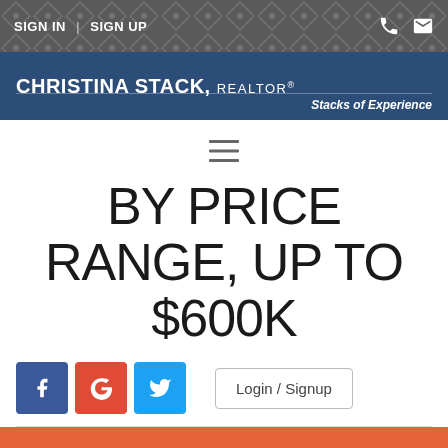SIGN IN | SIGN UP
CHRISTINA STACK, REALTOR® — Stacks of Experience
[Figure (other): Hamburger/menu icon (three horizontal lines)]
BY PRICE RANGE, UP TO $600K
[Figure (other): Social login buttons: Facebook (f), Google (G), Twitter bird icon, and a Login / Signup button]
Your search has found 238 listings from your criteria. At the request of the listing brokerage(s) only 237 can be publicly displayed. To get instant access to all 238 listings, please